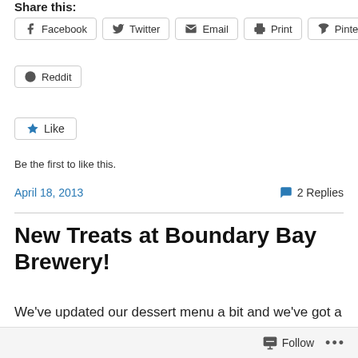Share this:
Facebook
Twitter
Email
Print
Pinterest
Reddit
Like
Be the first to like this.
April 18, 2013
2 Replies
New Treats at Boundary Bay Brewery!
We've updated our dessert menu a bit and we've got a new idea to keep it interesting.  We'll have the same basic